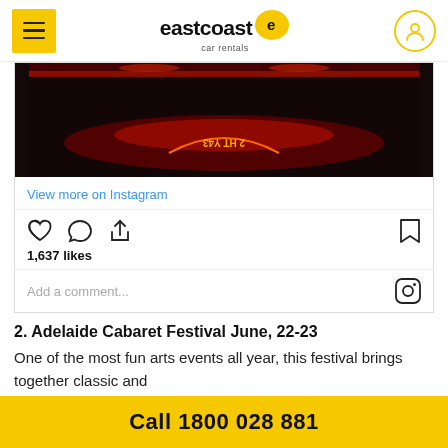eastcoast car rentals
[Figure (screenshot): Instagram embed showing a dark red-lit stage/floor with reflected neon lights and text. Below the image: 'View more on Instagram' link, social action icons (heart, comment, share, bookmark), 1,637 likes, and 'Add a comment...' input field with Instagram logo.]
2. Adelaide Cabaret Festival June, 22-23
One of the most fun arts events all year, this festival brings together classic and
Call 1800 028 881